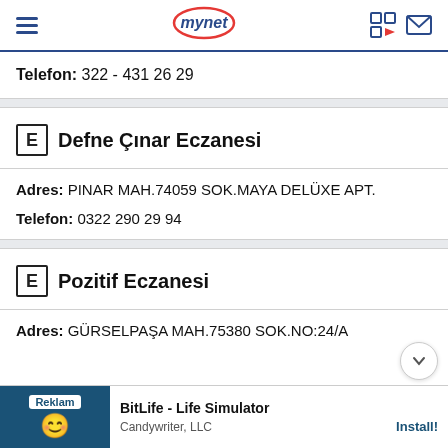mynet
Telefon: 322 - 431 26 29
E Defne Çınar Eczanesi
Adres: PINAR MAH.74059 SOK.MAYA DELÜXE APT.
Telefon: 0322 290 29 94
E Pozitif Eczanesi
Adres: GÜRSELPAŞA MAH.75380 SOK.NO:24/A
[Figure (screenshot): Advertisement banner for BitLife - Life Simulator by Candywriter, LLC with Install button]